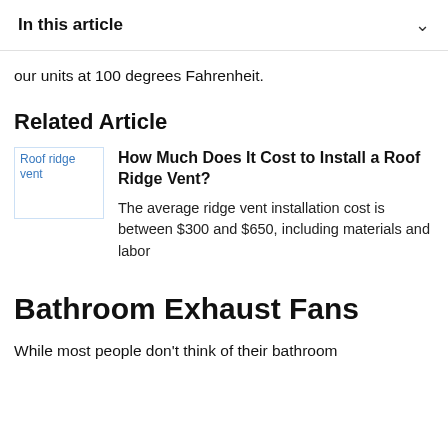In this article
our units at 100 degrees Fahrenheit.
Related Article
[Figure (photo): Roof ridge vent image placeholder]
How Much Does It Cost to Install a Roof Ridge Vent?
The average ridge vent installation cost is between $300 and $650, including materials and labor
Bathroom Exhaust Fans
While most people don't think of their bathroom